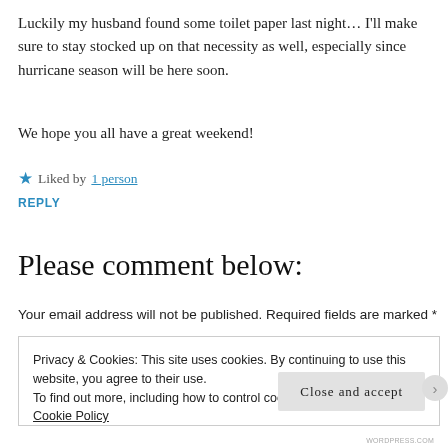Luckily my husband found some toilet paper last night… I'll make sure to stay stocked up on that necessity as well, especially since hurricane season will be here soon.
We hope you all have a great weekend!
★ Liked by 1 person
REPLY
Please comment below:
Your email address will not be published. Required fields are marked *
Privacy & Cookies: This site uses cookies. By continuing to use this website, you agree to their use.
To find out more, including how to control cookies, see here: Our Cookie Policy
Close and accept